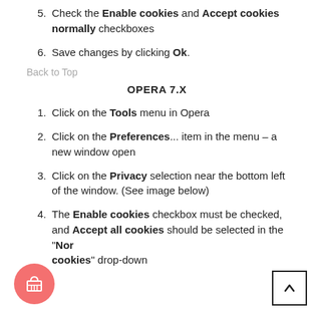5. Check the Enable cookies and Accept cookies normally checkboxes
6. Save changes by clicking Ok.
Back to Top
OPERA 7.X
1. Click on the Tools menu in Opera
2. Click on the Preferences... item in the menu – a new window open
3. Click on the Privacy selection near the bottom left of the window. (See image below)
4. The Enable cookies checkbox must be checked, and Accept all cookies should be selected in the "Normally accept cookies" drop-down